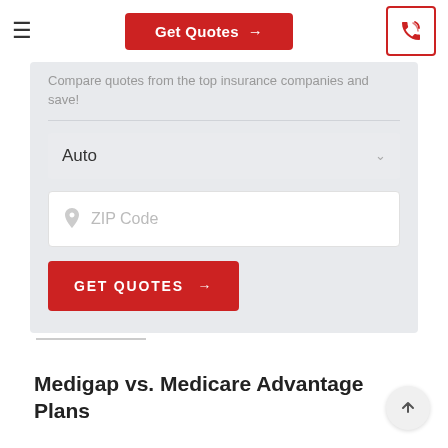Get Quotes →
Compare quotes from the top insurance companies and save!
Auto
ZIP Code
GET QUOTES →
Medigap vs. Medicare Advantage Plans